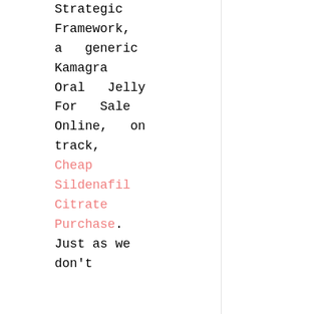Strategic Framework, a generic Kamagra Oral Jelly For Sale Online, on track, Cheap Sildenafil Citrate Purchase. Just as we don't